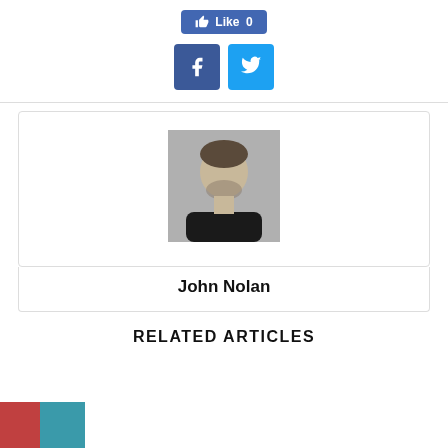[Figure (other): Facebook Like button showing count 0]
[Figure (other): Facebook and Twitter share icon buttons]
[Figure (photo): Headshot photo of John Nolan, a man with short hair and beard wearing a black shirt, against a grey background]
John Nolan
RELATED ARTICLES
[Figure (photo): Partial article thumbnail image visible at bottom left]